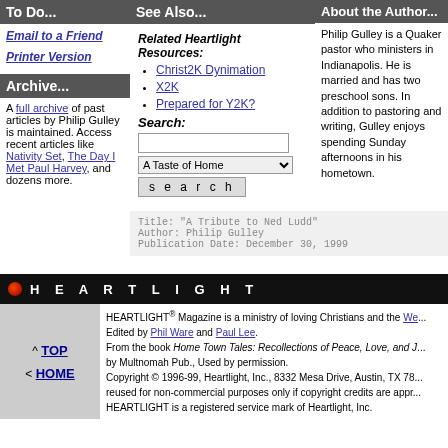To Do...
Email to a Friend
Printer Version
Archive...
A full archive of past articles by Philip Gulley is maintained. Access recent articles like Nativity Set, The Day I Met Paul Harvey, and dozens more.
See Also...
Related Heartlight Resources:
Christ2K Dynimation
X2K
Prepared for Y2K?
Search:
About the Author...
Philip Gulley is a Quaker pastor who ministers in Indianapolis. He is married and has two preschool sons. In addition to pastoring and writing, Gulley enjoys spending Sunday afternoons in his hometown.
Title: "A Tribute to Ned Ludd"
Author: Philip Gulley
Publication Date: December 30, 1999
HEARTLIGHT
HEARTLIGHT® Magazine is a ministry of loving Christians and the W... Edited by Phil Ware and Paul Lee. From the book Home Town Tales: Recollections of Peace, Love, and J... by Multnomah Pub., Used by permission. Copyright © 1996-99, Heartlight, Inc., 8332 Mesa Drive, Austin, TX 78... reused for non-commercial purposes only if copyright credits are appr... HEARTLIGHT is a registered service mark of Heartlight, Inc.